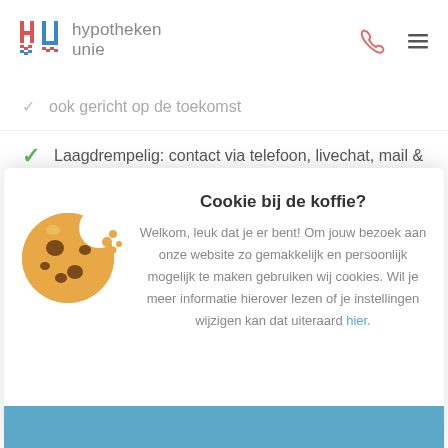[Figure (logo): Hypotheken Unie logo with stylized H and U icon in red and blue, with grey text 'hypotheken unie']
ook gericht op de toekomst
Laagdrempelig: contact via telefoon, livechat, mail &
[Figure (illustration): Cookie illustration: a round golden-brown cookie with a bite taken out, showing chocolate chips and crumbs]
Cookie bij de koffie?
Welkom, leuk dat je er bent! Om jouw bezoek aan onze website zo gemakkelijk en persoonlijk mogelijk te maken gebruiken wij cookies. Wil je meer informatie hierover lezen of je instellingen wijzigen kan dat uiteraard hier.